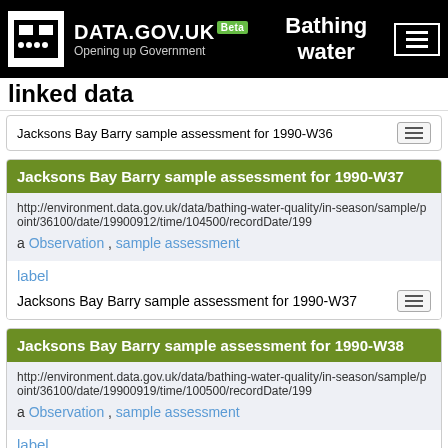DATA.GOV.UK Beta — Opening up Government | Bathing water linked data
Jacksons Bay Barry sample assessment for 1990-W36
Jacksons Bay Barry sample assessment for 1990-W37
http://environment.data.gov.uk/data/bathing-water-quality/in-season/sample/point/36100/date/19900912/time/104500/recordDate/199
a Observation , sample assessment
label
Jacksons Bay Barry sample assessment for 1990-W37
Jacksons Bay Barry sample assessment for 1990-W38
http://environment.data.gov.uk/data/bathing-water-quality/in-season/sample/point/36100/date/19900919/time/100500/recordDate/199
a Observation , sample assessment
label
Jacksons Bay Barry sample assessment for 1990-W38